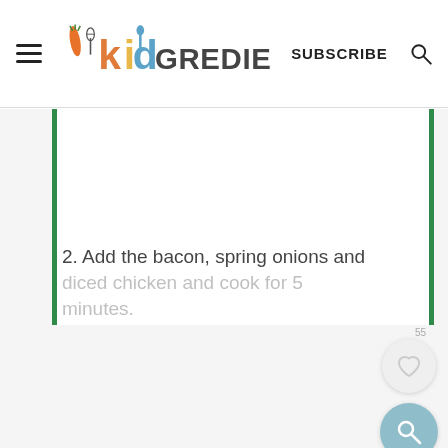kidgredients — SUBSCRIBE
[Figure (other): White content area with green vertical border bars on left and right, representing a recipe step image placeholder]
2. Add the bacon, spring onions and diced chicken and cook for 5 minutes.